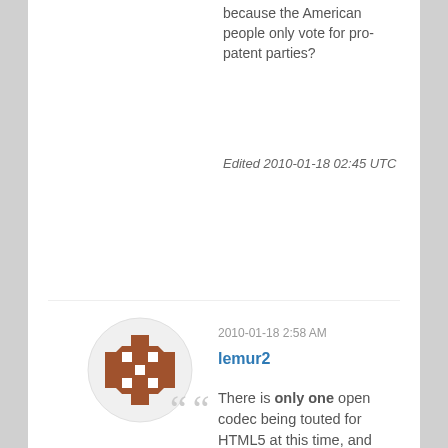because the American people only vote for pro-patent parties?
Edited 2010-01-18 02:45 UTC
[Figure (illustration): Circular avatar/logo with a brown geometric lattice pattern on a light grey background]
2010-01-18 2:58 AM
lemur2
There is only one open codec being touted for HTML5 at this time, and that is Ogg Theora.
MPEG-4 AVC is